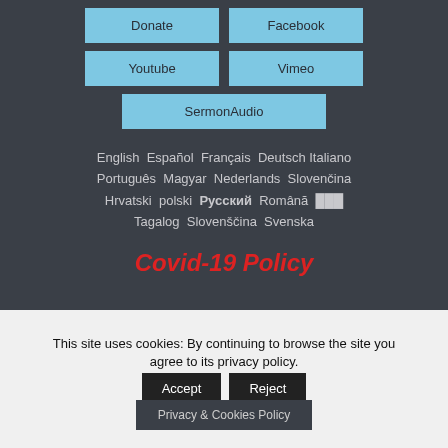Donate
Facebook
Youtube
Vimeo
SermonAudio
English  Español  Français  Deutsch  Italiano  Português  Magyar  Nederlands  Slovenčina  Hrvatski  polski  Русский  Română  ███  Tagalog  Slovenščina  Svenska
Covid-19 Policy
This site uses cookies: By continuing to browse the site you agree to its privacy policy.
Accept
Reject
Privacy & Cookies Policy